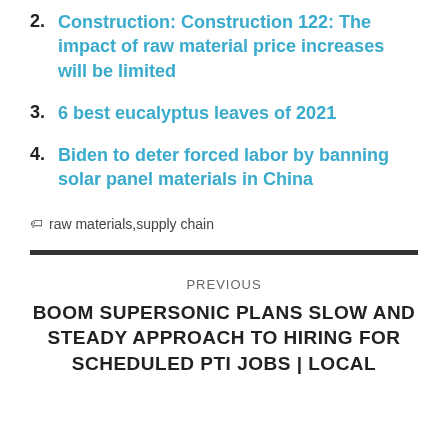2. Construction: Construction 122: The impact of raw material price increases will be limited
3. 6 best eucalyptus leaves of 2021
4. Biden to deter forced labor by banning solar panel materials in China
🏷 raw materials,supply chain
PREVIOUS
BOOM SUPERSONIC PLANS SLOW AND STEADY APPROACH TO HIRING FOR SCHEDULED PTI JOBS | LOCAL